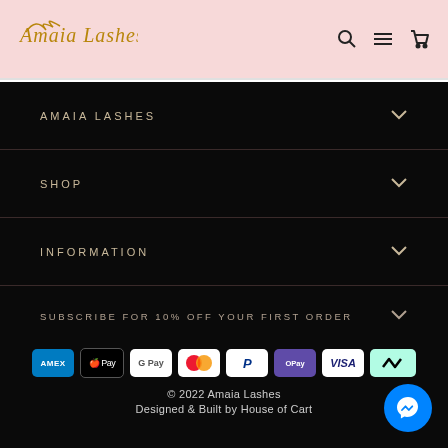Amaia Lashes logo with search, menu, and cart icons
AMAIA LASHES
SHOP
INFORMATION
SUBSCRIBE FOR 10% OFF YOUR FIRST ORDER
[Figure (logo): Payment method icons: American Express, Apple Pay, Google Pay, Mastercard, PayPal, OPay, Visa, Afterpay]
© 2022 Amaia Lashes
Designed & Built by House of Cart